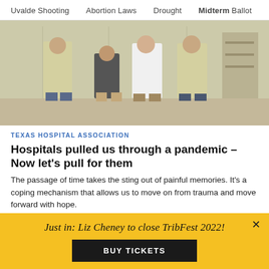Uvalde Shooting  Abortion Laws  Drought  Midterm Ballot
[Figure (photo): Four people standing apart in a hospital or clinical setting, wearing protective medical gowns and white lab coats.]
TEXAS HOSPITAL ASSOCIATION
Hospitals pulled us through a pandemic – Now let's pull for them
The passage of time takes the sting out of painful memories. It's a coping mechanism that allows us to move on from trauma and move forward with hope.
Just in: Liz Cheney to close TribFest 2022!
BUY TICKETS